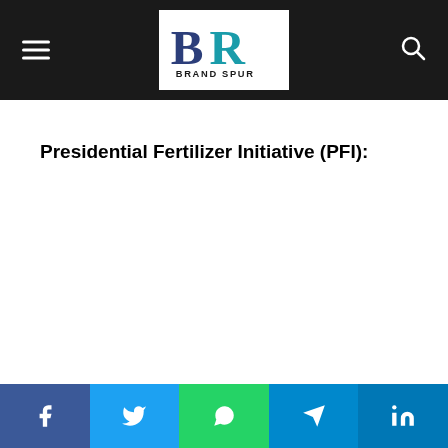[Figure (logo): Brand Spur logo on dark navigation bar with hamburger menu and search icon]
Presidential Fertilizer Initiative (PFI):
[Figure (other): Social media sharing bar with Facebook, Twitter, WhatsApp, Telegram, and LinkedIn buttons]